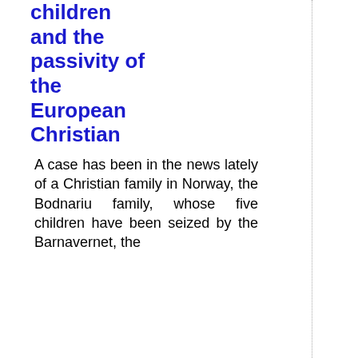children and the passivity of the European Christian
A case has been in the news lately of a Christian family in Norway, the Bodnariu family, whose five children have been seized by the Barnavernet, the